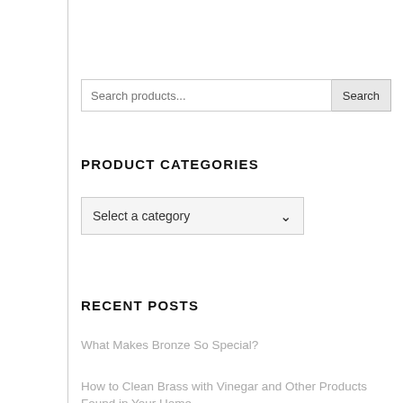[Figure (screenshot): Search bar with text input showing 'Search products...' placeholder and a 'Search' button]
PRODUCT CATEGORIES
[Figure (screenshot): Dropdown select box showing 'Select a category' with a chevron/arrow icon]
RECENT POSTS
What Makes Bronze So Special?
How to Clean Brass with Vinegar and Other Products Found in Your Home
Colors that Go with Bronze and How to Use Bronze in Interior Design